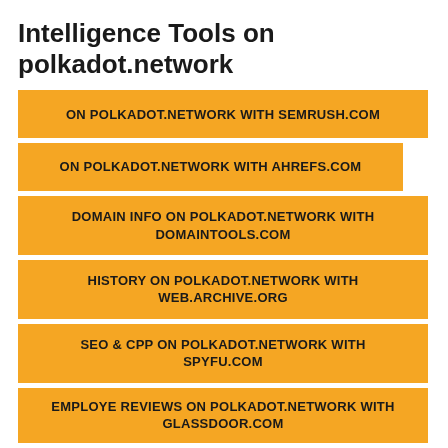Intelligence Tools on polkadot.network
ON POLKADOT.NETWORK WITH SEMRUSH.COM
ON POLKADOT.NETWORK WITH AHREFS.COM
DOMAIN INFO ON POLKADOT.NETWORK WITH DOMAINTOOLS.COM
HISTORY ON POLKADOT.NETWORK WITH WEB.ARCHIVE.ORG
SEO & CPP ON POLKADOT.NETWORK WITH SPYFU.COM
EMPLOYE REVIEWS ON POLKADOT.NETWORK WITH GLASSDOOR.COM